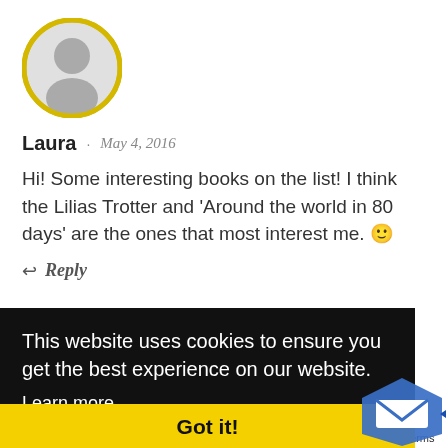[Figure (illustration): Circular avatar placeholder with gray silhouette on light gray background, bordered with yellow/gold ring]
Laura · May 4, 2016
Hi! Some interesting books on the list! I think the Lilias Trotter and 'Around the world in 80 days' are the ones that most interest me. 🙂
↩ Reply
This website uses cookies to ensure you get the best experience on our website.
Learn more
Got it!
I'm looking forward to reading these books too!!